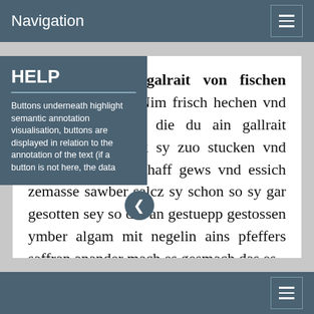Navigation
Wie man guot galrait von fischen machen sol etc. Nim frisch hechen vnd ander guot visch die du ain gallrait machen wild hack sy zuo stucken vnd stupp sy jn ain schaff gews vnd essich zemasse sawber salcz sy schon so sy gar gesotten sey so dar an gestuepp gestossen ymber algam mit negelin ains pfeffers saffran anander mach es gesmach das es
HELP
Buttons underneath highlight semantic annotation visualisation, buttons are displayed in relation to the annotation of the text (if a button is not here, the data